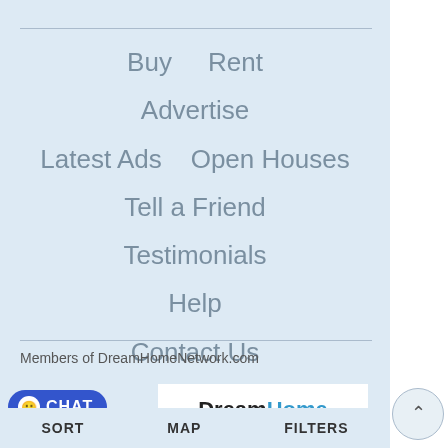Buy    Rent
Advertise
Latest Ads    Open Houses
Tell a Friend
Testimonials
Help
Contact Us
Members of DreamHomeNetwork.com
[Figure (logo): CHAT button with face icon on blue rounded pill]
[Figure (logo): DreamHome logo in black and teal on white background]
[Figure (other): Scroll-to-top circular button with up arrow]
SORT    MAP    FILTERS